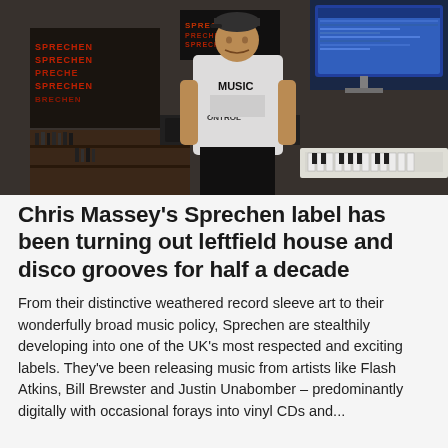[Figure (photo): Photo of Chris Massey standing in a music studio wearing a white 'MUSIC CONTROL' t-shirt and cap. Behind him are shelves with vinyl records, DJ equipment, a monitor screen with music software, a keyboard, and LED signs reading 'SPRECHEN'.]
Chris Massey's Sprechen label has been turning out leftfield house and disco grooves for half a decade
From their distinctive weathered record sleeve art to their wonderfully broad music policy, Sprechen are stealthily developing into one of the UK's most respected and exciting labels. They've been releasing music from artists like Flash Atkins, Bill Brewster and Justin Unabomber – predominantly digitally with occasional forays into vinyl CDs and...